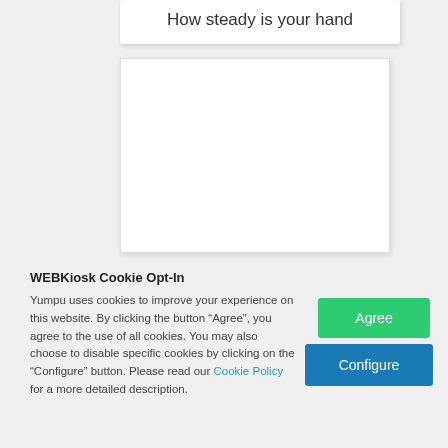How steady is your hand
[Figure (other): White rectangular content area/panel, mostly blank]
WEBKiosk Cookie Opt-In
Yumpu uses cookies to improve your experience on this website. By clicking the button “Agree”, you agree to the use of all cookies. You may also choose to disable specific cookies by clicking on the “Configure” button. Please read our Cookie Policy for a more detailed description.
[Figure (other): Green 'Agree' button]
[Figure (other): Blue 'Configure' button]